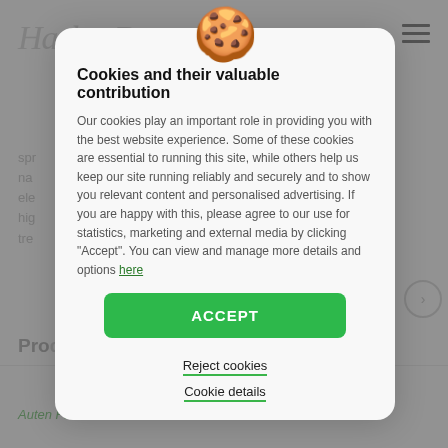[Figure (screenshot): Background website page with italic script logo, hamburger menu icon, dimmed body text and section header]
Cookies and their valuable contribution
Our cookies play an important role in providing you with the best website experience. Some of these cookies are essential to running this site, while others help us keep our site running reliably and securely and to show you relevant content and personalised advertising. If you are happy with this, please agree to our use for statistics, marketing and external media by clicking "Accept". You can view and manage more details and options here
ACCEPT
Reject cookies
Cookie details